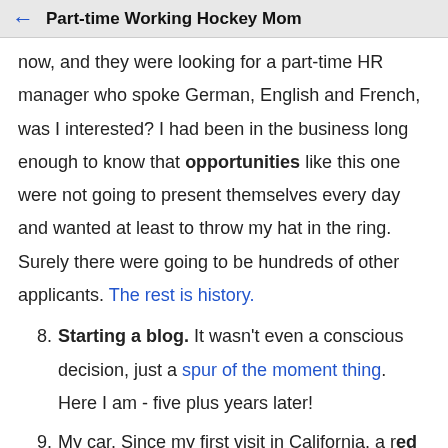Part-time Working Hockey Mom
now, and they were looking for a part-time HR manager who spoke German, English and French, was I interested? I had been in the business long enough to know that opportunities like this one were not going to present themselves every day and wanted at least to throw my hat in the ring. Surely there were going to be hundreds of other applicants. The rest is history.
8. Starting a blog. It wasn't even a conscious decision, just a spur of the moment thing. Here I am - five plus years later!
9. My car. Since my first visit in California, a red Mustang convertible had been my dream car.